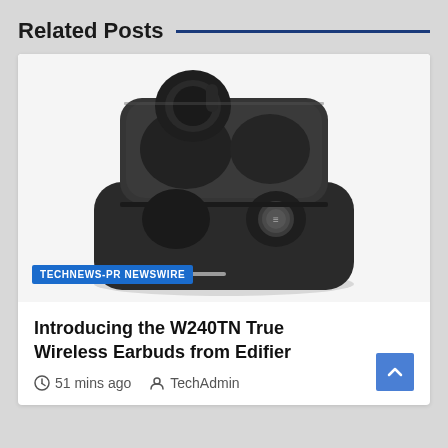Related Posts
[Figure (photo): Edifier W240TN True Wireless Earbuds in their open charging case, showing black earbuds with metallic accents against a white background. A blue badge reads 'TECHNEWS-PR NEWSWIRE' in the lower left of the image.]
Introducing the W240TN True Wireless Earbuds from Edifier
51 mins ago  TechAdmin